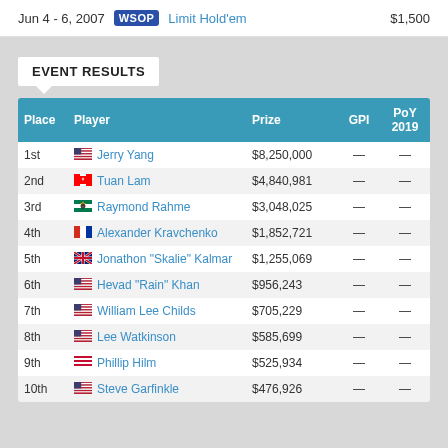Jun 4 - 6, 2007  WSOP  Limit Hold'em  $1,500
EVENT RESULTS
| Place | Player | Prize | GPI | PoY 2019 |
| --- | --- | --- | --- | --- |
| 1st | Jerry Yang | $8,250,000 | — | — |
| 2nd | Tuan Lam | $4,840,981 | — | — |
| 3rd | Raymond Rahme | $3,048,025 | — | — |
| 4th | Alexander Kravchenko | $1,852,721 | — | — |
| 5th | Jonathon "Skalie" Kalmar | $1,255,069 | — | — |
| 6th | Hevad "Rain" Khan | $956,243 | — | — |
| 7th | William Lee Childs | $705,229 | — | — |
| 8th | Lee Watkinson | $585,699 | — | — |
| 9th | Phillip Hilm | $525,934 | — | — |
| 10th | Steve Garfinkle | $476,926 | — | — |